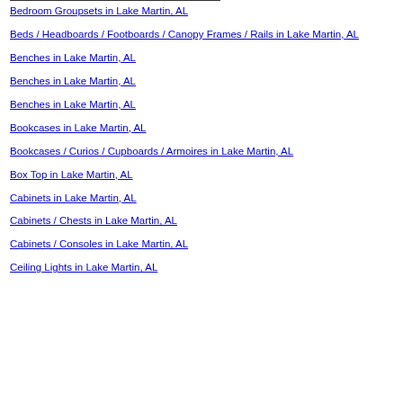Bedroom Groupsets in Lake Martin, AL
Beds / Headboards / Footboards / Canopy Frames / Rails in Lake Martin, AL
Benches in Lake Martin, AL
Benches in Lake Martin, AL
Benches in Lake Martin, AL
Bookcases in Lake Martin, AL
Bookcases / Curios / Cupboards / Armoires in Lake Martin, AL
Box Top in Lake Martin, AL
Cabinets in Lake Martin, AL
Cabinets / Chests in Lake Martin, AL
Cabinets / Consoles in Lake Martin, AL
Ceiling Lights in Lake Martin, AL